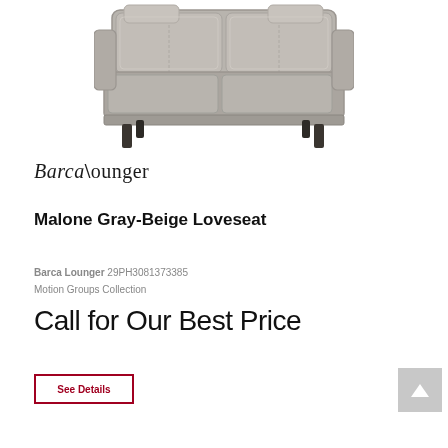[Figure (photo): Gray-beige leather loveseat recliner sofa with dark legs, shown in a three-quarter front view on white background]
[Figure (logo): BarcaLounger brand logo in serif italic font]
Malone Gray-Beige Loveseat
Barca Lounger 29PH3081373385
Motion Groups Collection
Call for Our Best Price
See Details